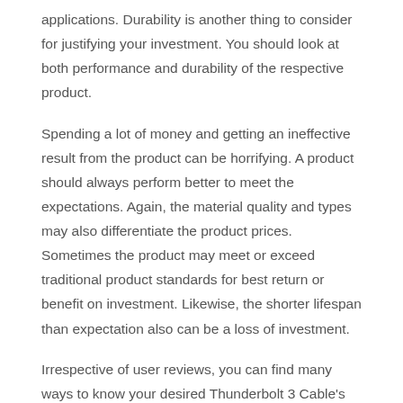applications. Durability is another thing to consider for justifying your investment. You should look at both performance and durability of the respective product.
Spending a lot of money and getting an ineffective result from the product can be horrifying. A product should always perform better to meet the expectations. Again, the material quality and types may also differentiate the product prices. Sometimes the product may meet or exceed traditional product standards for best return or benefit on investment. Likewise, the shorter lifespan than expectation also can be a loss of investment.
Irrespective of user reviews, you can find many ways to know your desired Thunderbolt 3 Cable's performance and durability. You should try to see the source of materials used in producing the product. Indeed, the best product is constructed from premium, long-lasting, and industry-leading materials.
Warranty and After-sales Service